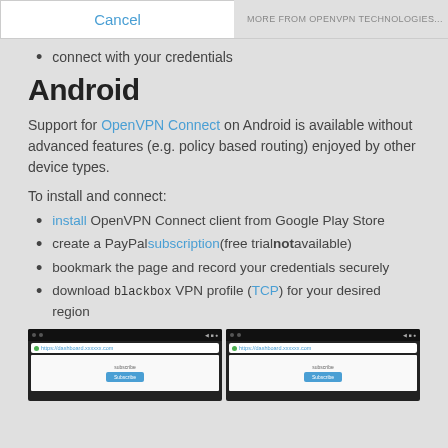[Figure (screenshot): Top bar with Cancel button on left and 'MORE FROM OPENVPN TECHNOLOGIES...' text on right]
connect with your credentials
Android
Support for OpenVPN Connect on Android is available without advanced features (e.g. policy based routing) enjoyed by other device types.
To install and connect:
install OpenVPN Connect client from Google Play Store
create a PayPal subscription (free trial not available)
bookmark the page and record your credentials securely
download blackbox VPN profile (TCP) for your desired region
[Figure (screenshot): Two Android browser screenshots showing a website dashboard]